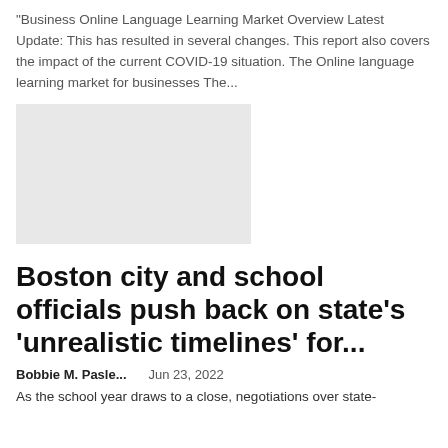"Business Online Language Learning Market Overview Latest Update: This has resulted in several changes. This report also covers the impact of the current COVID-19 situation. The Online language learning market for businesses The...
[Figure (photo): Light gray rectangular image placeholder]
Boston city and school officials push back on state's 'unrealistic timelines' for...
Bobbie M. Pasle...    Jun 23, 2022
As the school year draws to a close, negotiations over state-